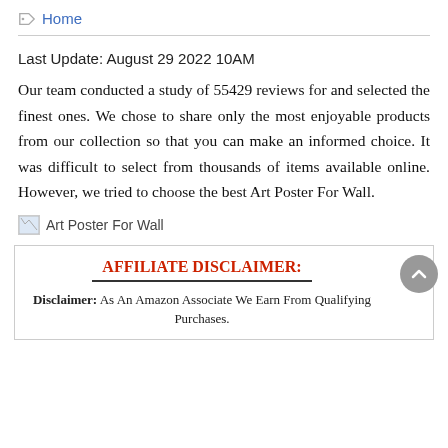Home
Last Update: August 29 2022 10AM
Our team conducted a study of 55429 reviews for and selected the finest ones. We chose to share only the most enjoyable products from our collection so that you can make an informed choice. It was difficult to select from thousands of items available online. However, we tried to choose the best Art Poster For Wall.
[Figure (photo): Broken image placeholder labeled 'Art Poster For Wall']
AFFILIATE DISCLAIMER:
Disclaimer: As An Amazon Associate We Earn From Qualifying Purchases.